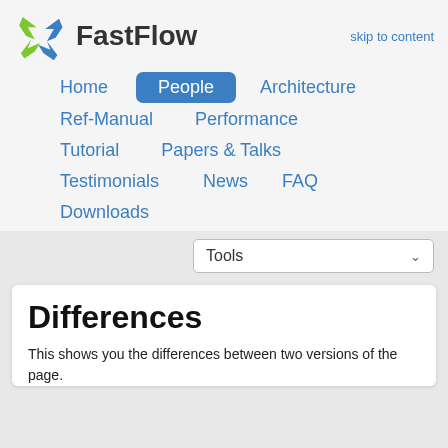FastFlow
skip to content
Home
People
Architecture
Ref-Manual
Performance
Tutorial
Papers & Talks
Testimonials
News
FAQ
Downloads
Tools
Differences
This shows you the differences between two versions of the page.